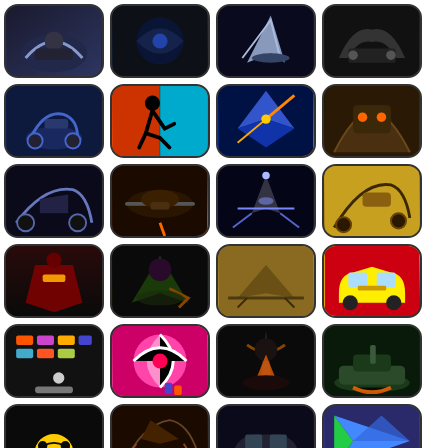[Figure (illustration): Grid of 24 mobile game app icons arranged in 4 columns and 6 rows, featuring motorcycle racing, running games, space shooters, helicopter combat, fighting, candy games, stealth jets, taxi driver, and other action game themes]
[Figure (illustration): Row 1: dark motorcycle game, space/water dark scene, spaceship shooter, batman/dark car game]
[Figure (illustration): Row 2: motorcycle racing blue, running silhouette orange/blue, laser geometry blue, mech warfare brown]
[Figure (illustration): Row 3: dual motorcycle dark, helicopter combat orange, jet fighter purple, motocross stunt gold]
[Figure (illustration): Row 4: ironman red city, witch/fighter dark, stealth jet tan, yellow taxi red]
[Figure (illustration): Row 5: breakout bricks colorful, candy spinner pink, warrior fire, tank explosion green]
[Figure (illustration): Row 6 (partial): ball black yellow, aerial combat brown, car game dark, navigation blue green]